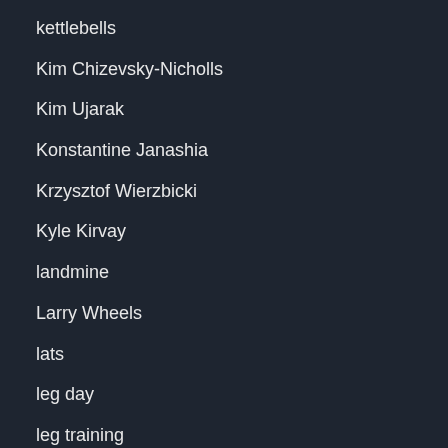kettlebells
Kim Chizevsky-Nicholls
Kim Ujarak
Konstantine Janashia
Krzysztof Wierzbicki
Kyle Kirvay
landmine
Larry Wheels
lats
leg day
leg training
leg workout
leg workouts